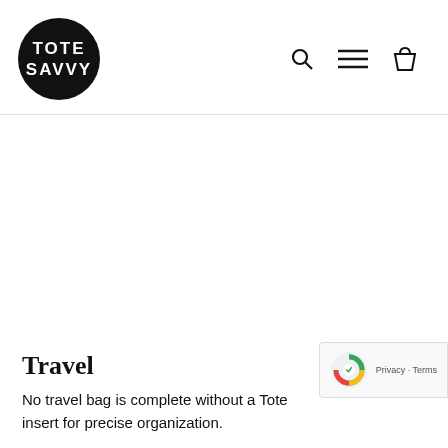[Figure (logo): Tote Savvy logo: white text 'TOTE SAVVY' on black circle]
[Figure (other): Navigation icons: search magnifying glass, hamburger menu lines, shopping bag]
Travel
No travel bag is complete without a Tote insert for precise organization.